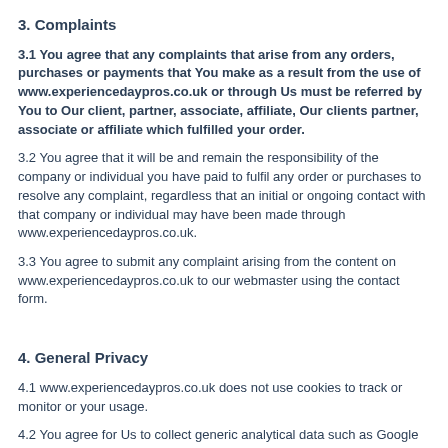3. Complaints
3.1 You agree that any complaints that arise from any orders, purchases or payments that You make as a result from the use of www.experiencedaypros.co.uk or through Us must be referred by You to Our client, partner, associate, affiliate, Our clients partner, associate or affiliate which fulfilled your order.
3.2 You agree that it will be and remain the responsibility of the company or individual you have paid to fulfil any order or purchases to resolve any complaint, regardless that an initial or ongoing contact with that company or individual may have been made through www.experiencedaypros.co.uk.
3.3 You agree to submit any complaint arising from the content on www.experiencedaypros.co.uk to our webmaster using the contact form.
4. General Privacy
4.1 www.experiencedaypros.co.uk does not use cookies to track or monitor or your usage.
4.2 You agree for Us to collect generic analytical data such as Google analytics for website performance and statistical purposes.